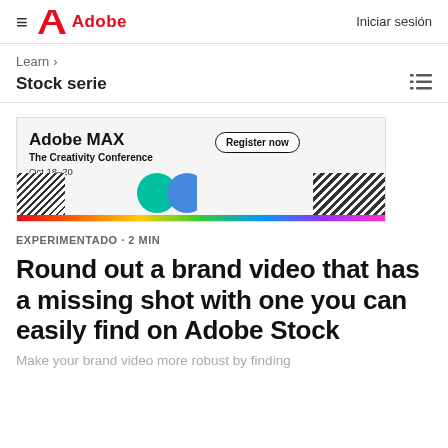≡  Adobe   Iniciar sesión
Learn >
Stock serie
[Figure (illustration): Adobe MAX advertisement banner: 'Adobe MAX The Creativity Conference Oct 18-20' with a 'Register now' button and colorful abstract graphic design elements including circles, hatching, and a rainbow bar.]
EXPERIMENTADO · 2 MIN
Round out a brand video that has a missing shot with one you can easily find on Adobe Stock
Make your brand video more robust by finding